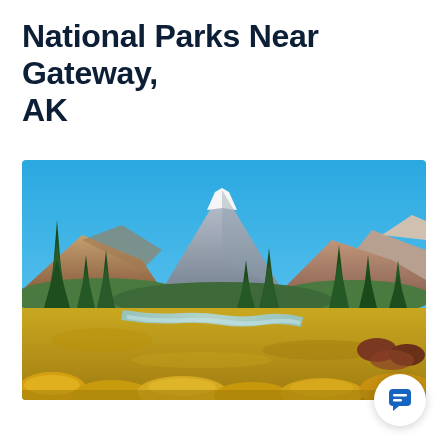National Parks Near Gateway, AK
[Figure (photo): Scenic Alaska landscape with snow-capped mountains in background, a river winding through the middle ground, evergreen spruce trees covering hillsides, and golden autumn foliage shrubs in the foreground under a bright blue sky.]